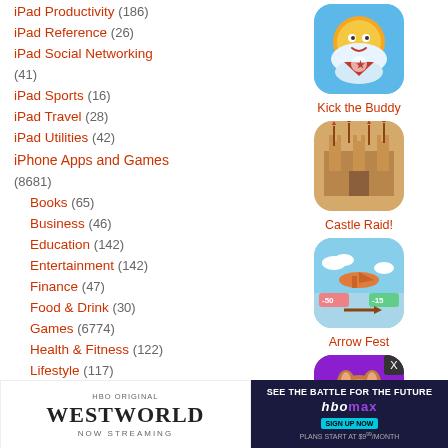iPad Productivity (186)
iPad Reference (26)
iPad Social Networking (41)
iPad Sports (16)
iPad Travel (28)
iPad Utilities (42)
iPhone Apps and Games (8681)
Books (65)
Business (46)
Education (142)
Entertainment (142)
Finance (47)
Food & Drink (30)
Games (6774)
Health & Fitness (122)
Lifestyle (117)
Medical (11)
Music (115)
Navigation (34)
News (55)
Photo...
Produ...
Refe...
[Figure (screenshot): Kick the Buddy app icon]
Kick the Buddy
[Figure (screenshot): Castle Raid! app icon]
Castle Raid!
[Figure (screenshot): Arrow Fest app icon]
Arrow Fest
[Figure (screenshot): My Pet app icon]
My Pet ...se
[Figure (screenshot): HBO Original Westworld Now Streaming advertisement banner]
[Figure (screenshot): HBO Max - See the battle for the future advertisement]